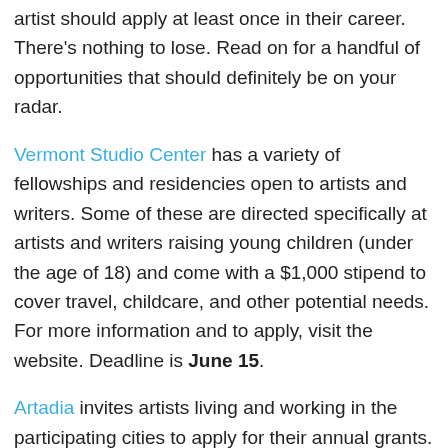artist should apply at least once in their career. There's nothing to lose. Read on for a handful of opportunities that should definitely be on your radar.
Vermont Studio Center has a variety of fellowships and residencies open to artists and writers. Some of these are directed specifically at artists and writers raising young children (under the age of 18) and come with a $1,000 stipend to cover travel, childcare, and other potential needs. For more information and to apply, visit the website. Deadline is June 15.
Artadia invites artists living and working in the participating cities to apply for their annual grants. From the finalist pool, two artists are selected to receive $10,000 in unrestricted grant money. Deadlines vary based on which city an artist lives and works in. For more information and for upcoming